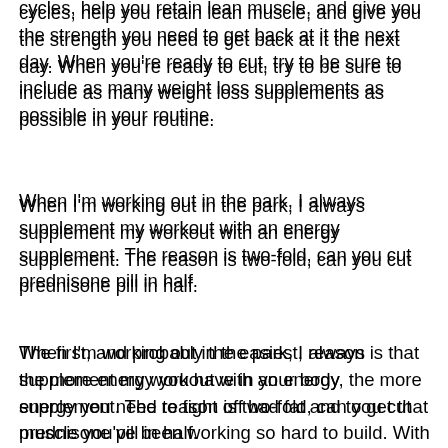cycles, help you retain lean muscle, and give you the strength you need to get back at it the next day. When you're ready to cut, try to be sure to include as many weight loss supplements as possible in your routine.
When I'm working out in the park, I always supplement my workout with an energy supplement. The reason is two-fold, can you cut prednisone pill in half.
The first, and probably the easiest, reason is that the more energy you have in your body, the more energy you need to fight off bad fat and to get that muscle you've been working so hard to build. With more energy, you can keep going.
When you're working out at your park, the other two ingredients I would suggest are creatine and alpha lipoic acid, can you cut prednisone tablets in half. Creatine has been